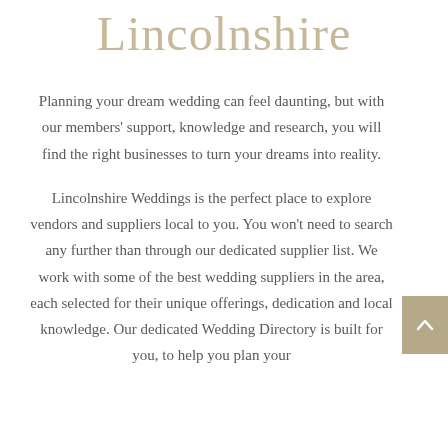Lincolnshire
Planning your dream wedding can feel daunting, but with our members' support, knowledge and research, you will find the right businesses to turn your dreams into reality.
Lincolnshire Weddings is the perfect place to explore vendors and suppliers local to you. You won't need to search any further than through our dedicated supplier list. We work with some of the best wedding suppliers in the area, each selected for their unique offerings, dedication and local knowledge. Our dedicated Wedding Directory is built for you, to help you plan your